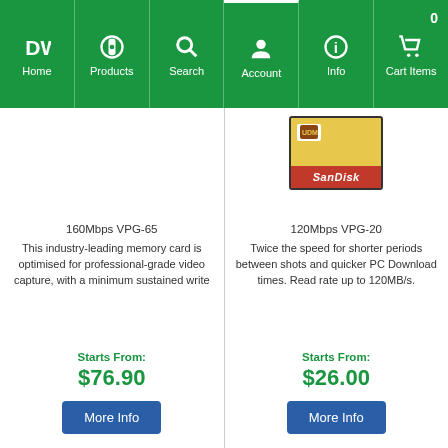Home | Products | Search | Account | Info | Cart Items 0
[Figure (screenshot): SanDisk UDMA memory card partial image visible in top right product column]
160Mbps VPG-65
This industry-leading memory card is optimised for professional-grade video capture, with a minimum sustained write
120Mbps VPG-20
Twice the speed for shorter periods between shots and quicker PC Download times. Read rate up to 120MB/s.
Starts From:
$76.90
Starts From:
$26.00
More Info
More Info
XD ADAPTOR
SONY MEMORY STICK PRO-DUO